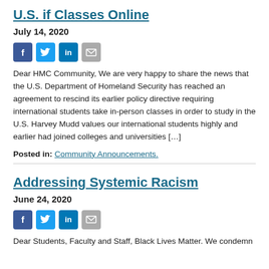U.S. if Classes Online
July 14, 2020
[Figure (other): Social media sharing icons: Facebook, Twitter, LinkedIn, Email]
Dear HMC Community, We are very happy to share the news that the U.S. Department of Homeland Security has reached an agreement to rescind its earlier policy directive requiring international students take in-person classes in order to study in the U.S. Harvey Mudd values our international students highly and earlier had joined colleges and universities […]
Posted in: Community Announcements.
Addressing Systemic Racism
June 24, 2020
[Figure (other): Social media sharing icons: Facebook, Twitter, LinkedIn, Email]
Dear Students, Faculty and Staff, Black Lives Matter. We condemn